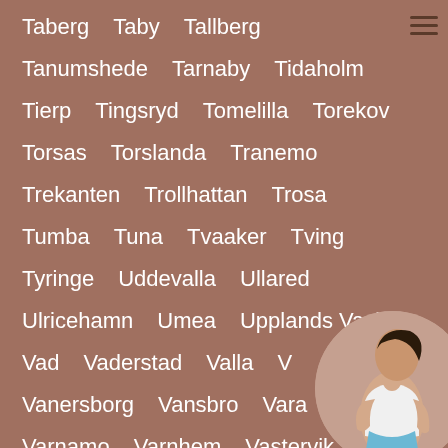Taberg   Taby   Tallberg
Tanumshede   Tarnaby   Tidaholm
Tierp   Tingsryd   Tomelilla   Torekov
Torsas   Torslanda   Tranemo
Trekanten   Trollhattan   Trosa
Tumba   Tuna   Tvaaker   Tving
Tyringe   Uddevalla   Ullared
Ulricehamn   Umea   Upplands Vasby
Vad   Vaderstad   Valla   V...
Vanersborg   Vansbro   Vara
Varnamo   Varnhem   Vastervik
[Figure (photo): Circular photo of a woman in a white top, partially visible in the bottom-right corner of the page.]